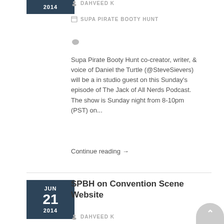2014
DAHVEED K
SUPA PIRATE BOOTY HUNT
Supa Pirate Booty Hunt co-creator, writer, & voice of Daniel the Turtle (@SteveSievers) will be a in studio guest on this Sunday's episode of The Jack of All Nerds Podcast. The show is Sunday night from 8-10pm (PST) on...
Continue reading →
SPBH on Convention Scene Website
DAHVEED K
SUPA PIRATE BOOTY HUNT